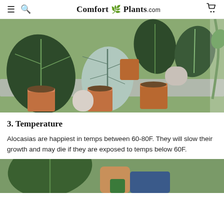Comfort Plants.com
[Figure (photo): Overhead/angled view of multiple Alocasia plants with distinctive patterned leaves in terracotta and ceramic pots arranged on a gray tray near a window.]
3. Temperature
Alocasias are happiest in temps between 60-80F. They will slow their growth and may die if they are exposed to temps below 60F.
[Figure (photo): Partial view of a person's hands near a large Alocasia leaf, partial view at bottom of page.]